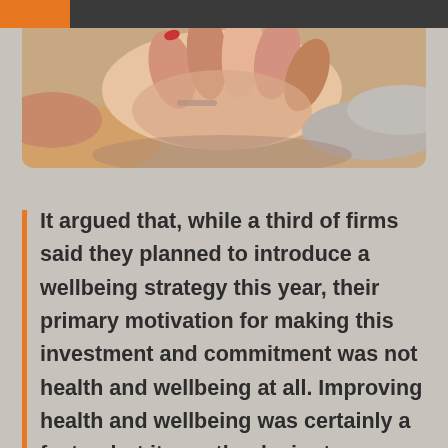[Figure (photo): Photo of multiple hands coming together in a teamwork gesture, showing people of different skin tones touching/stacking hands in the center.]
It argued that, while a third of firms said they planned to introduce a wellbeing strategy this year, their primary motivation for making this investment and commitment was not health and wellbeing at all. Improving health and wellbeing was certainly a factor, but it was the desire to improve employee engagement,